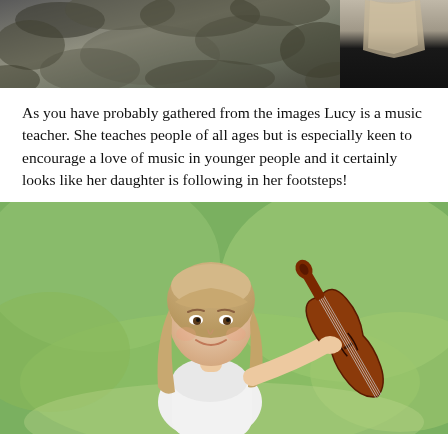[Figure (photo): Two black and white photos at top: left shows a person among foliage/plants, right shows a person with long hair against dark background]
As you have probably gathered from the images Lucy is a music teacher. She teaches people of all ages but is especially keen to encourage a love of music in younger people and it certainly looks like her daughter is following in her footsteps!
[Figure (photo): Color photograph of a young girl with long blonde hair, wearing a white dress, smiling and holding a violin upright by the neck, standing outdoors with a green blurred garden/field background]